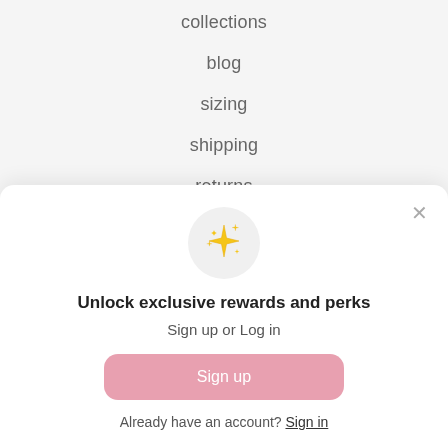collections
blog
sizing
shipping
returns
[Figure (illustration): Sparkle/stars emoji icon in a light gray circle]
Unlock exclusive rewards and perks
Sign up or Log in
Sign up
Already have an account? Sign in